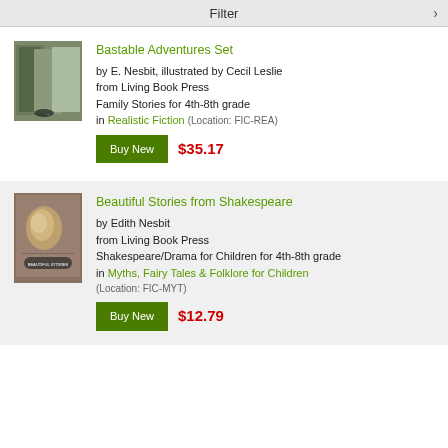Filter
[Figure (photo): Book cover for Bastable Adventures Set showing multiple illustrated book covers]
Bastable Adventures Set
by E. Nesbit, illustrated by Cecil Leslie
from Living Book Press
Family Stories for 4th-8th grade
in Realistic Fiction (Location: FIC-REA)
Buy New $35.17
[Figure (photo): Book cover for Beautiful Stories from Shakespeare showing a classical painting]
Beautiful Stories from Shakespeare
by Edith Nesbit
from Living Book Press
Shakespeare/Drama for Children for 4th-8th grade
in Myths, Fairy Tales & Folklore for Children
(Location: FIC-MYT)
Buy New $12.79